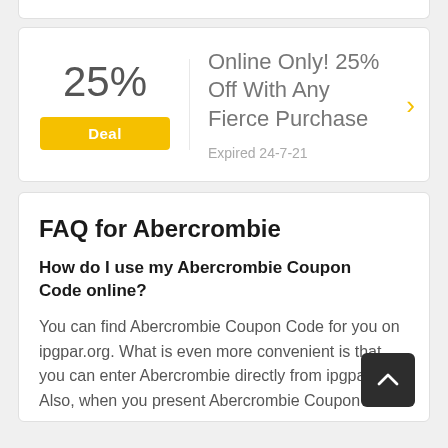[Figure (infographic): Deal card showing 25% discount with yellow Deal button, title 'Online Only! 25% Off With Any Fierce Purchase', expiry 'Expired 24-7-21', and a yellow chevron arrow on the right]
FAQ for Abercrombie
How do I use my Abercrombie Coupon Code online?
You can find Abercrombie Coupon Code for you on ipgpar.org. What is even more convenient is that you can enter Abercrombie directly from ipgpar.org. Also, when you present Abercrombie Coupon at the